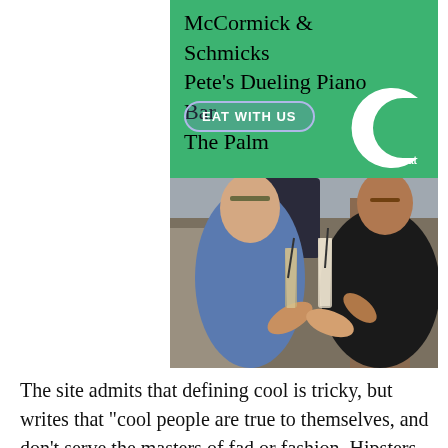[Figure (infographic): Green advertisement banner showing restaurant names (McCormick & Schmicks, Pete's Dueling Piano Bar, The Palm), an 'EAT WITH US' button with rounded border, and a white stylized G logo in the bottom right corner.]
[Figure (photo): Photo of people clinking cocktail glasses outdoors, with city buildings in the background.]
The site admits that defining cool is tricky, but writes that "cool people are true to themselves, and don't serve the masters of fad or fashion. Hipsters aren't cool. Cool is the opposite of trendy, the antithesis of 'hot.' If you think